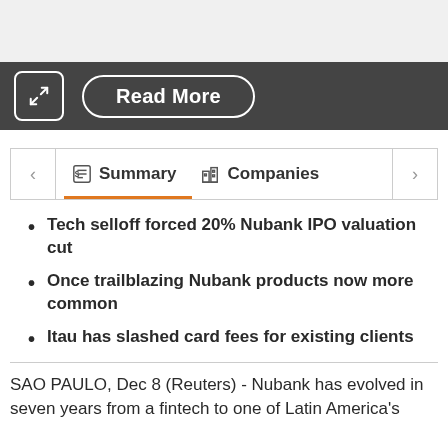[Figure (screenshot): Top grey bar area]
[Figure (screenshot): Dark toolbar with expand button and Read More button]
[Figure (screenshot): Tab strip with Summary (active, orange underline) and Companies tabs with left/right navigation arrows]
Tech selloff forced 20% Nubank IPO valuation cut
Once trailblazing Nubank products now more common
Itau has slashed card fees for existing clients
SAO PAULO, Dec 8 (Reuters) - Nubank has evolved in seven years from a fintech to one of Latin America's